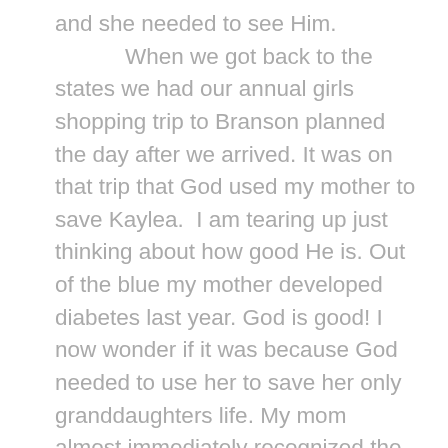and she needed to see Him. When we got back to the states we had our annual girls shopping trip to Branson planned the day after we arrived. It was on that trip that God used my mother to save Kaylea. I am tearing up just thinking about how good He is. Out of the blue my mother developed diabetes last year. God is good! I now wonder if it was because God needed to use her to save her only granddaughters life. My mom almost immediately recognized the symptoms of diabetes. She attempted to test her on our way to Branson but